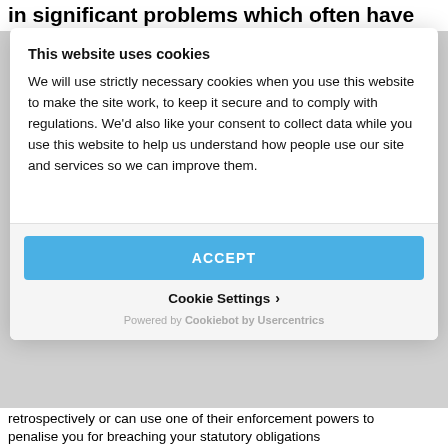in significant problems which often have
This website uses cookies
We will use strictly necessary cookies when you use this website to make the site work, to keep it secure and to comply with regulations. We'd also like your consent to collect data while you use this website to help us understand how people use our site and services so we can improve them.
ACCEPT
Cookie Settings >
Powered by Cookiebot by Usercentrics
retrospectively or can use one of their enforcement powers to penalise you for breaching your statutory obligations